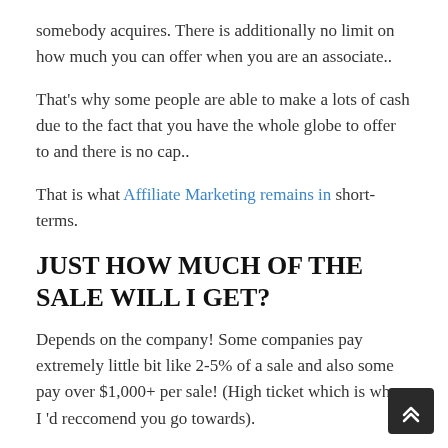somebody acquires. There is additionally no limit on how much you can offer when you are an associate..
That's why some people are able to make a lots of cash due to the fact that you have the whole globe to offer to and there is no cap..
That is what Affiliate Marketing remains in short-terms.
JUST HOW MUCH OF THE SALE WILL I GET?
Depends on the company! Some companies pay extremely little bit like 2-5% of a sale and also some pay over $1,000+ per sale! (High ticket which is where I 'd reccomend you go towards).
The amount you get from a sale, as mentioned